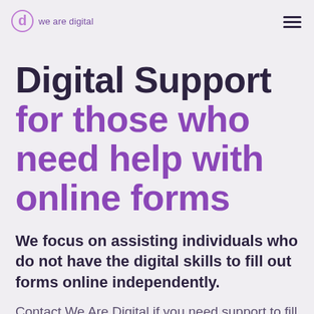we are digital
Digital Support for those who need help with online forms
We focus on assisting individuals who do not have the digital skills to fill out forms online independently.
Contact We Are Digital if you need support to fill out